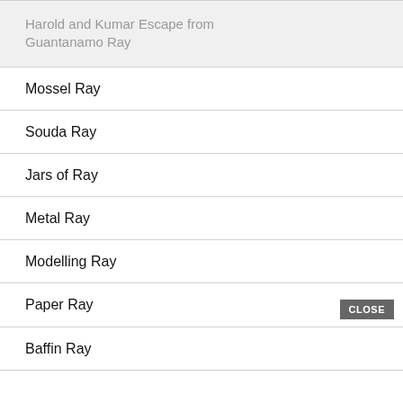Harold and Kumar Escape from Guantanamo Ray
Mossel Ray
Souda Ray
Jars of Ray
Metal Ray
Modelling Ray
Paper Ray
Baffin Ray